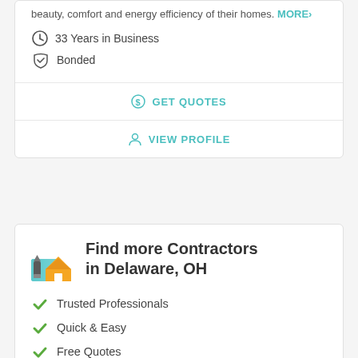beauty, comfort and energy efficiency of their homes. MORE›
33 Years in Business
Bonded
GET QUOTES
VIEW PROFILE
Find more Contractors in Delaware, OH
Trusted Professionals
Quick & Easy
Free Quotes
GET QUOTES